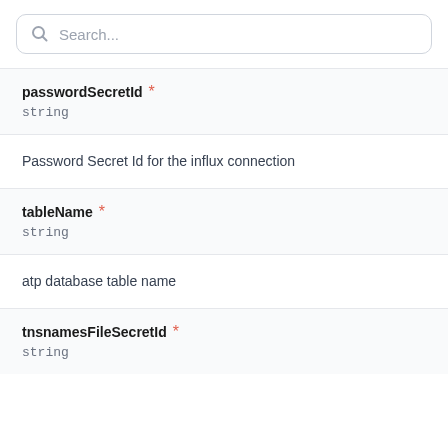Search...
passwordSecretId *
string
Password Secret Id for the influx connection
tableName *
string
atp database table name
tnsnamesFileSecretId *
string